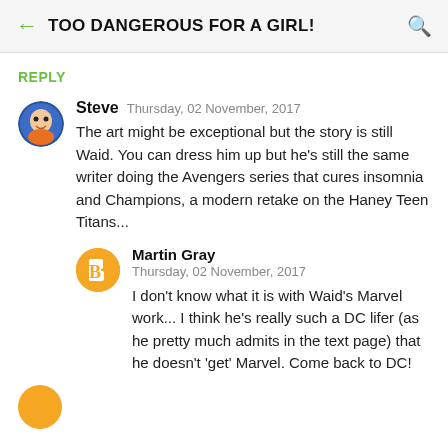TOO DANGEROUS FOR A GIRL!
REPLY
Steve  Thursday, 02 November, 2017
The art might be exceptional but the story is still Waid. You can dress him up but he's still the same writer doing the Avengers series that cures insomnia and Champions, a modern retake on the Haney Teen Titans...
Martin Gray
Thursday, 02 November, 2017
I don't know what it is with Waid's Marvel work... I think he's really such a DC lifer (as he pretty much admits in the text page) that he doesn't 'get' Marvel. Come back to DC!